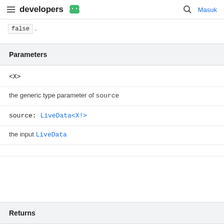developers  Masuk
false .
Parameters
<X>
the generic type parameter of source
source: LiveData<X!>
the input LiveData
Returns